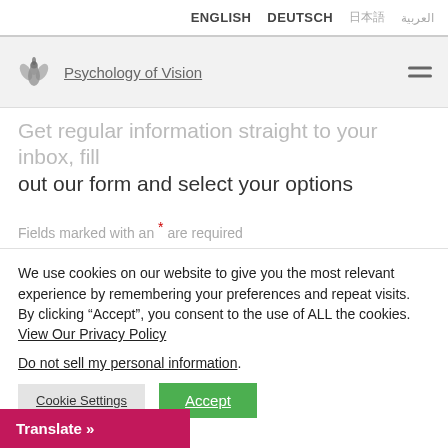ENGLISH   DEUTSCH   [Chinese chars]   [Arabic chars]
[Figure (logo): Psychology of Vision logo - lotus/flower shape with leaf motifs in grey]
Psychology of Vision
Get regular information straight to your inbox, fill out our form and select your options
Fields marked with an * are required
We use cookies on our website to give you the most relevant experience by remembering your preferences and repeat visits. By clicking “Accept”, you consent to the use of ALL the cookies. View Our Privacy Policy
Do not sell my personal information.
Cookie Settings
Accept
Translate »